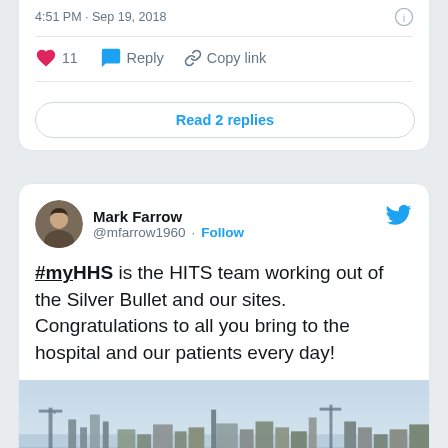4:51 PM · Sep 19, 2018
11  Reply  Copy link
Read 2 replies
Mark Farrow
@mfarrow1960 · Follow
#myHHS is the HITS team working out of the Silver Bullet and our sites. Congratulations to all you bring to the hospital and our patients every day!
[Figure (photo): Aerial cityscape photo showing industrial area with cranes, waterfront, and urban buildings under a hazy sky]